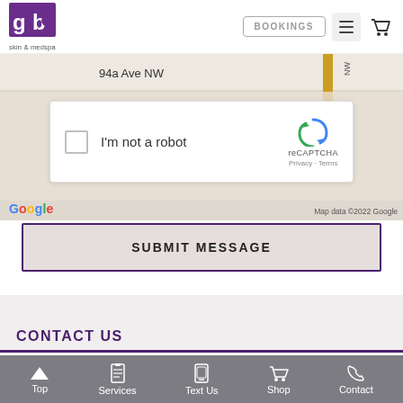glo skin & medspa — BOOKINGS navigation header
[Figure (screenshot): Google Maps snippet showing 94a Ave NW with map data ©2022 Google]
[Figure (screenshot): reCAPTCHA widget with checkbox labeled I'm not a robot, Privacy and Terms links]
SUBMIT MESSAGE
CONTACT US
Top | Services | Text Us | Shop | Contact